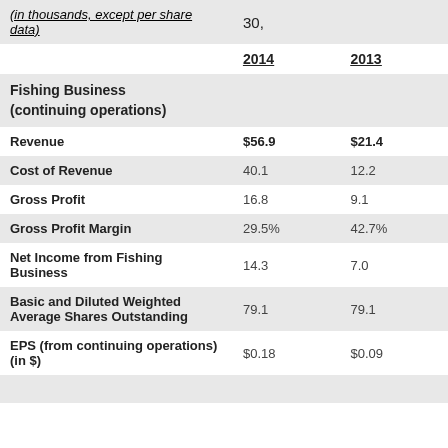| (in thousands, except per share data) | June 30, |  |  |
| --- | --- | --- | --- |
|  | 2014 | 2013 |
| Fishing Business (continuing operations) |  |  |
| Revenue | $56.9 | $21.4 |
| Cost of Revenue | 40.1 | 12.2 |
| Gross Profit | 16.8 | 9.1 |
| Gross Profit Margin | 29.5% | 42.7% |
| Net Income from Fishing Business | 14.3 | 7.0 |
| Basic and Diluted Weighted Average Shares Outstanding | 79.1 | 79.1 |
| EPS (from continuing operations)(in $) | $0.18 | $0.09 |
|  |  |  |